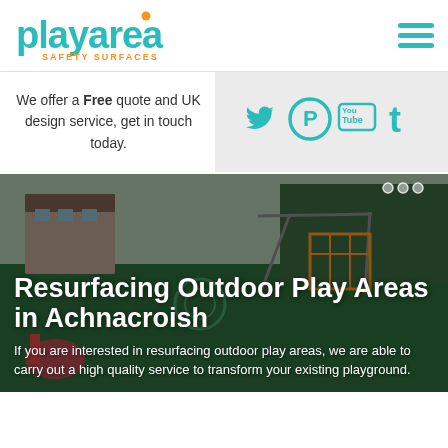[Figure (logo): Playarea Safety Surfaces logo — 'playarea' in teal/green rounded font with an orange dot above the 'a', and 'SAFETY SURFACES' in orange uppercase letters below]
[Figure (infographic): Hamburger menu icon (three horizontal teal lines)]
We offer a Free quote and UK design service, get in touch today.
[Figure (infographic): Social media icons: Twitter, Pinterest, YouTube, Tumblr in teal on grey background]
[Figure (photo): Outdoor playground photo showing green rubber safety surface, playground equipment including swings and climbing frames, with hedges and buildings in background]
Resurfacing Outdoor Play Areas in Achnacroish
If you are interested in resurfacing outdoor play areas, we are able to carry out a high quality service to transform your existing playground.